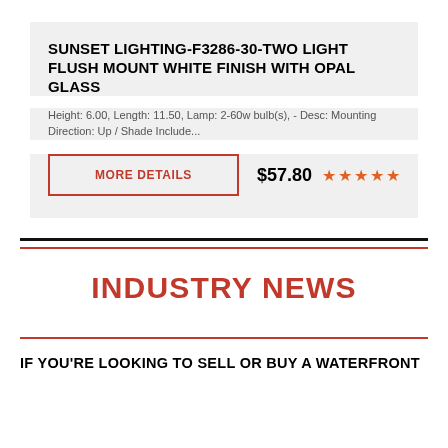SUNSET LIGHTING-F3286-30-TWO LIGHT FLUSH MOUNT WHITE FINISH WITH OPAL GLASS
Height: 6.00, Length: 11.50, Lamp: 2-60w bulb(s), - Desc: Mounting Direction: Up / Shade Include...
MORE DETAILS
$57.80 ★★★★★
INDUSTRY NEWS
IF YOU'RE LOOKING TO SELL OR BUY A WATERFRONT